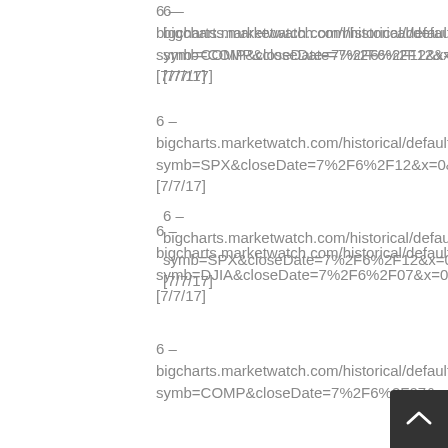6 – bigcharts.marketwatch.com/historical/default.a symb=COMP&closeDate=7%2F6%2F12&x=08 [7/7/17]
6 – bigcharts.marketwatch.com/historical/default.a symb=SPX&closeDate=7%2F6%2F12&x=0&y= [7/7/17]
6 – bigcharts.marketwatch.com/historical/default.a symb=DJIA&closeDate=7%2F6%2F07&x=0&y= [7/7/17]
6 – bigcharts.marketwatch.com/historical/default.a symb=COMP&closeDate=7%2F6%2F07&x=08